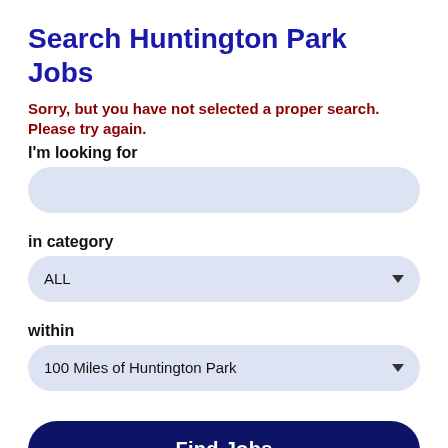Search Huntington Park Jobs
Sorry, but you have not selected a proper search. Please try again.
I'm looking for
in category
ALL
within
100 Miles of Huntington Park
Find Jobs